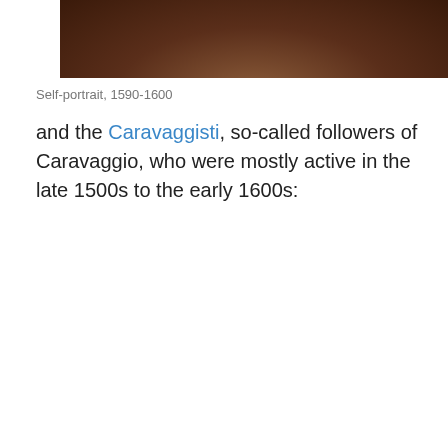[Figure (photo): Bottom portion of a painting, likely a self-portrait from 1590-1600, showing dark reddish-brown tones]
Self-portrait, 1590-1600
and the Caravaggisti, so-called followers of Caravaggio, who were mostly active in the late 1500s to the early 1600s:
[Figure (photo): A Baroque painting showing two figures — one in orange/red clothing with arm raised holding a rope or whip, and another figure in white — against a dark background, with a bird in the upper right and green drapery on the left. Style consistent with Caravaggisti painters.]